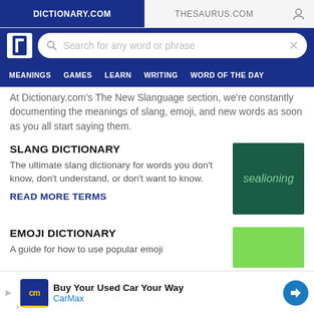DICTIONARY.COM | THESAURUS.COM
[Figure (screenshot): Dictionary.com navigation bar with logo, search box saying 'Search for any word or phrase', and menu items: MEANINGS, GAMES, LEARN, WRITING, WORD OF THE DAY]
At Dictionary.com's The New Slanguage section, we're constantly documenting the meanings of slang, emoji, and new words as soon as you all start saying them.
SLANG DICTIONARY
The ultimate slang dictionary for words you don't know, don't understand, or don't want to know.
READ MORE TERMS
[Figure (illustration): Dark green square with the word 'sealioning' in light green italic text]
EMOJI DICTIONARY
A guide for how to use popular emoji
[Figure (illustration): Light green square thumbnail for Emoji Dictionary]
[Figure (screenshot): Advertisement: Buy Your Used Car Your Way - CarMax, with CarMax logo and blue directional sign icon]